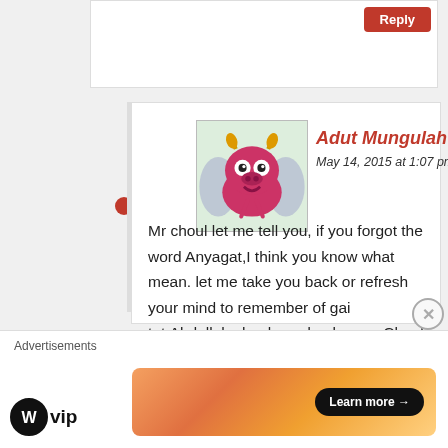[Figure (screenshot): WordPress blog comment section screenshot showing a reply button at top and a user comment below]
Adut Mungulah
May 14, 2015 at 1:07 pm
Mr choul let me tell you, if you forgot the word Anyagat,I think you know what mean. let me take you back or refresh your mind to remember of gai tut,Abdallah choul, gradon koang, Chuol Borou palino Matip ,Gatdet yak and Riek Machar in 1991,you know well what they did to they south
Advertisements
WP vip
Learn more →